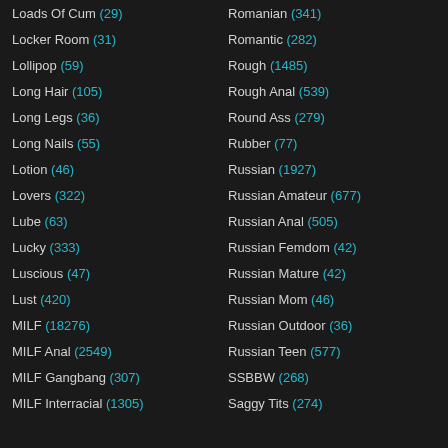Loads Of Cum (29)
Locker Room (31)
Lollipop (59)
Long Hair (105)
Long Legs (36)
Long Nails (55)
Lotion (46)
Lovers (322)
Lube (63)
Lucky (333)
Luscious (47)
Lust (420)
MILF (18276)
MILF Anal (2549)
MILF Gangbang (307)
MILF Interracial (1305)
Romanian (341)
Romantic (282)
Rough (1485)
Rough Anal (539)
Round Ass (279)
Rubber (77)
Russian (1927)
Russian Amateur (677)
Russian Anal (505)
Russian Femdom (42)
Russian Mature (42)
Russian Mom (46)
Russian Outdoor (36)
Russian Teen (577)
SSBBW (268)
Saggy Tits (274)